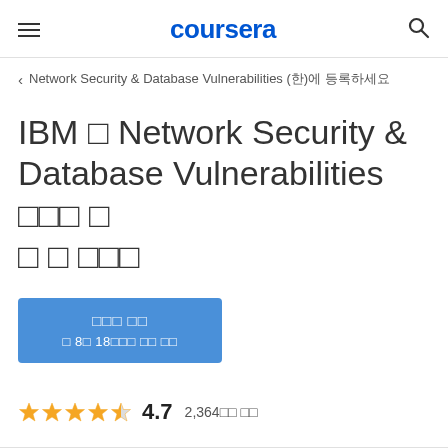coursera
< Network Security & Database Vulnerabilities (한)에 등록하세요
IBM 의 Network Security & Database Vulnerabilities 강좌를 통해 역 량 을 키우세요
무료로 시작
· 8월 18일에 시작 예정 무료 체험
4.7  2,364개의 평가